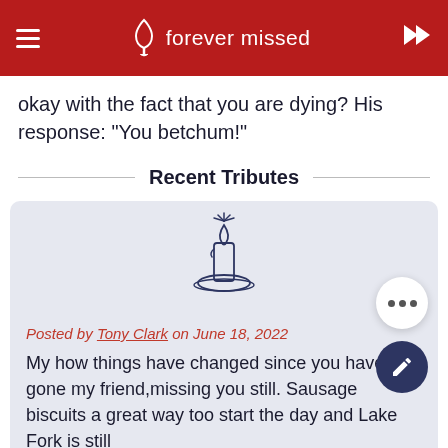forever missed
okay with the fact that you are dying? His response: "You betchum!"
Recent Tributes
[Figure (illustration): Line drawing of a lit candle with flame and rays, sitting on a small plate]
Posted by Tony Clark on June 18, 2022
My how things have changed since you have be gone my friend,missing you still. Sausage biscuits a great way too start the day and Lake Fork is still